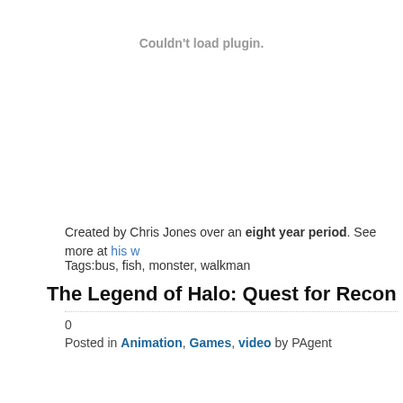[Figure (other): Plugin error placeholder area — 'Couldn't load plugin.' message centered in a large blank space]
Created by Chris Jones over an eight year period. See more at his w
Tags:bus, fish, monster, walkman
The Legend of Halo: Quest for Recon
0
Posted in Animation, Games, video by PAgent